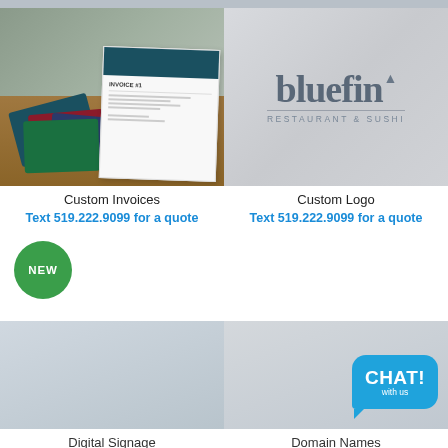[Figure (photo): Stack of colorful invoice/document papers on a wooden surface]
[Figure (logo): Bluefin Restaurant & Sushi logo on a grey embossed background]
Custom Invoices
Text 519.222.9099 for a quote
Custom Logo
Text 519.222.9099 for a quote
[Figure (illustration): Green circle badge with NEW text]
[Figure (photo): Digital Signage product image placeholder]
[Figure (illustration): Chat with us bubble icon]
[Figure (photo): Domain Names product image placeholder]
Digital Signage
Domain Names